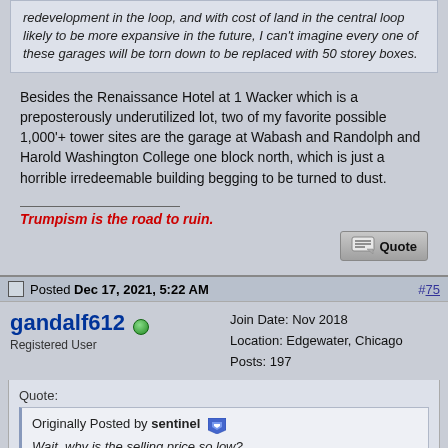redevelopment in the loop, and with cost of land in the central loop likely to be more expansive in the future, I can't imagine every one of these garages will be torn down to be replaced with 50 storey boxes.
Besides the Renaissance Hotel at 1 Wacker which is a preposterously underutilized lot, two of my favorite possible 1,000'+ tower sites are the garage at Wabash and Randolph and Harold Washington College one block north, which is just a horrible irredeemable building begging to be turned to dust.
Trumpism is the road to ruin.
Posted Dec 17, 2021, 5:22 AM #75
gandalf612 Registered User
Join Date: Nov 2018
Location: Edgewater, Chicago
Posts: 197
Quote:
Originally Posted by sentinel
Wait, why is the selling price so low?